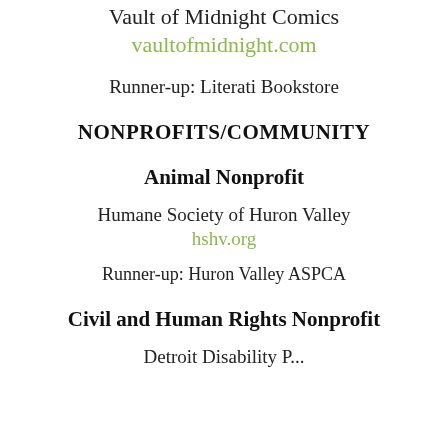Vault of Midnight Comics
vaultofmidnight.com
Runner-up: Literati Bookstore
NONPROFITS/COMMUNITY
Animal Nonprofit
Humane Society of Huron Valley
hshv.org
Runner-up: Huron Valley ASPCA
Civil and Human Rights Nonprofit
Detroit Disability P...